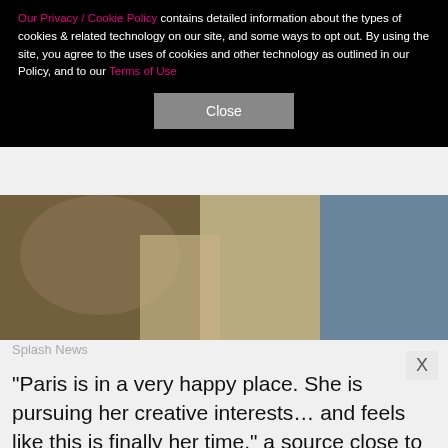Our Privacy / Cookie Policy contains detailed information about the types of cookies & related technology on our site, and some ways to opt out. By using the site, you agree to the uses of cookies and other technology as outlined in our Policy, and to our Terms of Use
Close
[Figure (photo): Photograph of people, blurred/partial view]
Splash News
"Paris is in a very happy place. She is pursuing her creative interests… and feels like this is finally her time," a source close to Paris told "ET" after the Chanel shoot. "She wants to try modeling, acting and has been songwriting. She is grateful for the opportunities ahea